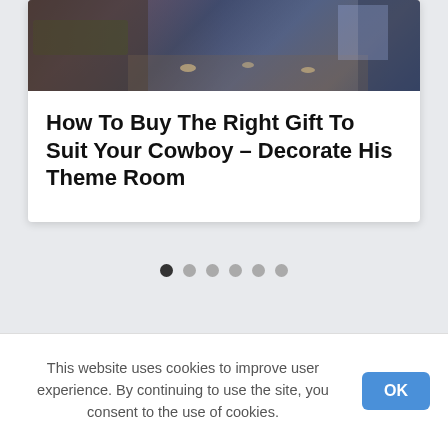[Figure (photo): Photograph of a modern building exterior at night with grass, concrete surfaces, and interior lighting visible]
How To Buy The Right Gift To Suit Your Cowboy – Decorate His Theme Room
[Figure (infographic): Carousel pagination dots — one filled dark dot and five lighter gray dots]
This website uses cookies to improve user experience. By continuing to use the site, you consent to the use of cookies.